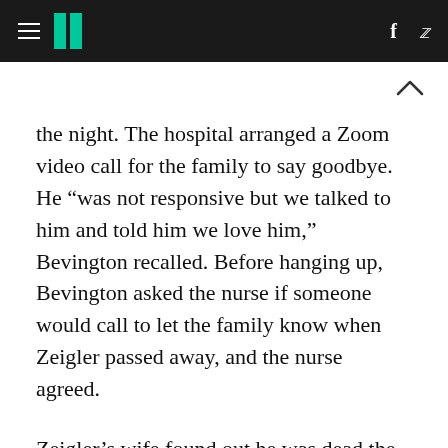HuffPost
the night. The hospital arranged a Zoom video call for the family to say goodbye. He “was not responsive but we talked to him and told him we love him,” Bevington recalled. Before hanging up, Bevington asked the nurse if someone would call to let the family know when Zeigler passed away, and the nurse agreed.
Zeigler’s wife found out he was dead the next morning around 10:45 when she received a call from Ohio State University’s Wexner Medical Center asking if she wanted an autopsy. He had died the night before she had learned.